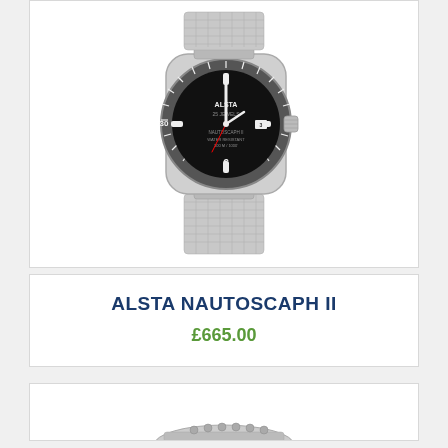[Figure (photo): Product photo of ALSTA Nautoscaph II dive watch with black dial, stainless steel case, and silver mesh bracelet, shown on white background]
ALSTA NAUTOSCAPH II
£665.00
[Figure (photo): Partial product photo showing bottom portion of a watch or watch accessory, cropped at the bottom of the page]